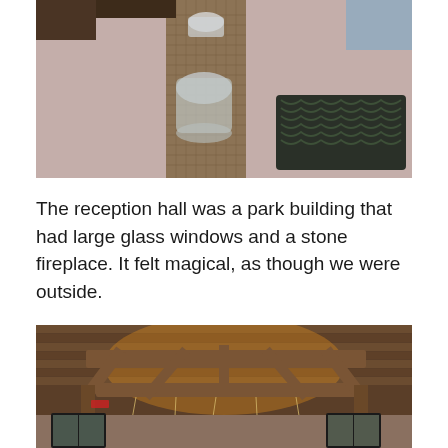[Figure (photo): Overhead view of a table set with a brown/taupe tablecloth and a burlap runner, a mason jar candle holder in the center, and a dark patterned placemat on the right.]
The reception hall was a park building that had large glass windows and a stone fireplace. It felt magical, as though we were outside.
[Figure (photo): Interior view of a rustic park reception hall showing exposed wooden beam ceiling structure with warm uplighting and string lights hanging down, large black-framed windows visible in the background.]